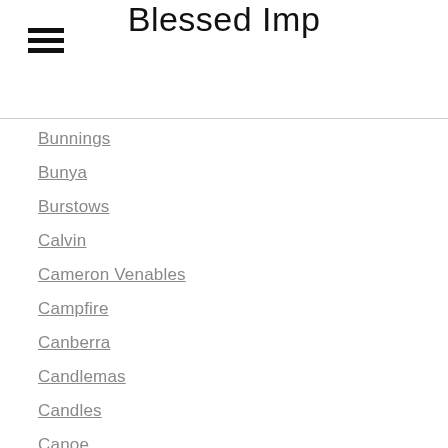Blessed Imp
Bunnings
Bunya
Burstows
Calvin
Cameron Venables
Campfire
Canberra
Candlemas
Candles
Canoe
Carnival Of Flowers
Cathedral
Catholic
Catholicity
Celebration
Celtic
Central Coast
Chalice